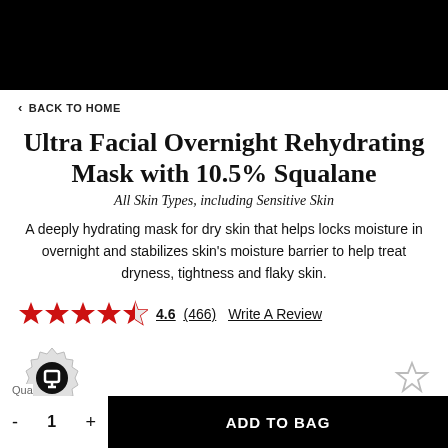< BACK TO HOME
Ultra Facial Overnight Rehydrating Mask with 10.5% Squalane
All Skin Types, including Sensitive Skin
A deeply hydrating mask for dry skin that helps locks moisture in overnight and stabilizes skin's moisture barrier to help treat dryness, tightness and flaky skin.
4.6 (466) Write A Review
[Figure (other): Badge/seal icon and wishlist star icon]
Quantity: 1 + ADD TO BAG